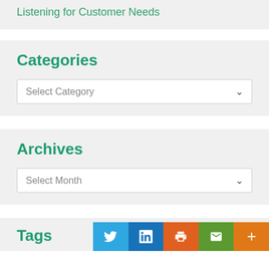Listening for Customer Needs
Categories
Select Category
Archives
Select Month
Tags